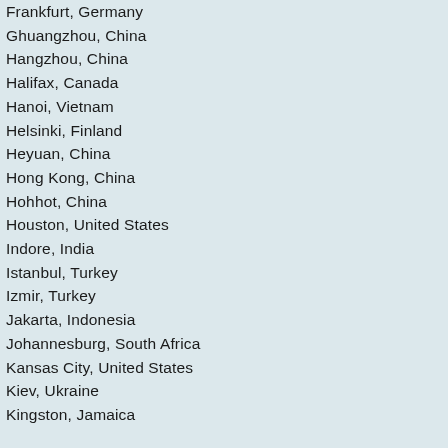Frankfurt, Germany
Ghuangzhou, China
Hangzhou, China
Halifax, Canada
Hanoi, Vietnam
Helsinki, Finland
Heyuan, China
Hong Kong, China
Hohhot, China
Houston, United States
Indore, India
Istanbul, Turkey
Izmir, Turkey
Jakarta, Indonesia
Johannesburg, South Africa
Kansas City, United States
Kiev, Ukraine
Kingston, Jamaica
Kristiansand, Norway
Kuala Lumpur, Malaysia